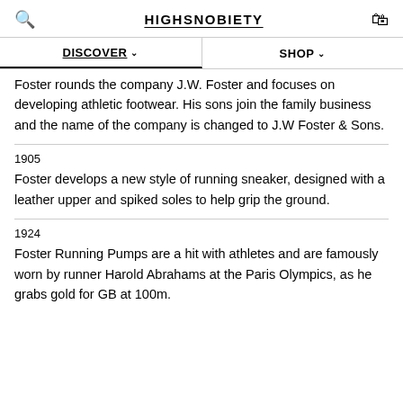HIGHSNOBIETY
DISCOVER
SHOP
Foster rounds the company J.W. Foster and focuses on developing athletic footwear. His sons join the family business and the name of the company is changed to J.W Foster & Sons.
1905
Foster develops a new style of running sneaker, designed with a leather upper and spiked soles to help grip the ground.
1924
Foster Running Pumps are a hit with athletes and are famously worn by runner Harold Abrahams at the Paris Olympics, as he grabs gold for GB at 100m.